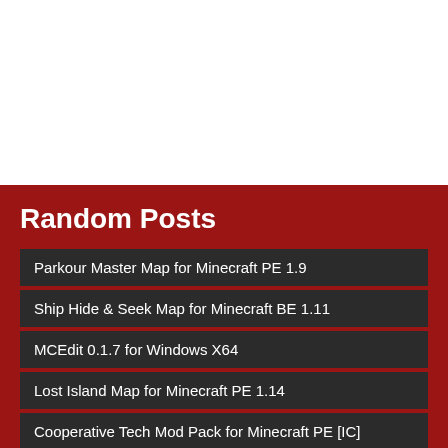Random Posts
Parkour Master Map for Minecraft PE 1.9
Ship Hide & Seek Map for Minecraft BE 1.11
MCEdit 0.1.7 for Windows X64
Lost Island Map for Minecraft PE 1.14
Cooperative Tech Mod Pack for Minecraft PE [IC]
Captain America mod for Minecraft PE 0.15.6